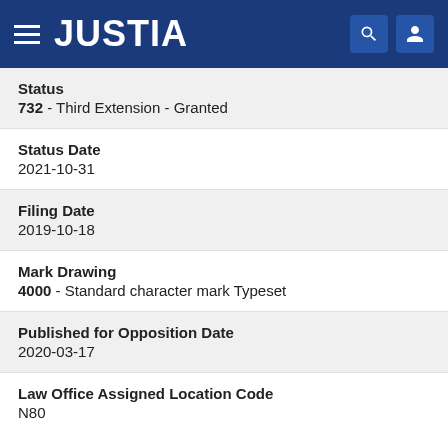JUSTIA
Status
732 - Third Extension - Granted
Status Date
2021-10-31
Filing Date
2019-10-18
Mark Drawing
4000 - Standard character mark Typeset
Published for Opposition Date
2020-03-17
Law Office Assigned Location Code
N80